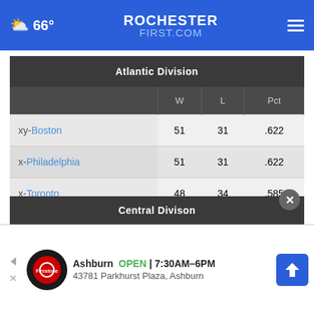66° ROCHESTER FIRST.COM
|  | W | L | Pct |
| --- | --- | --- | --- |
| xy-Boston | 51 | 31 | .622 |
| x-Philadelphia | 51 | 31 | .622 |
| x-Toronto | 48 | 34 | .585 |
| x-Brooklyn | 44 | 38 | .537 |
| New York | 37 | 45 | .451 |
Central Divison
[Figure (other): Firestone Auto Care advertisement: Ashburn OPEN 7:30AM-6PM, 43781 Parkhurst Plaza, Ashburn]